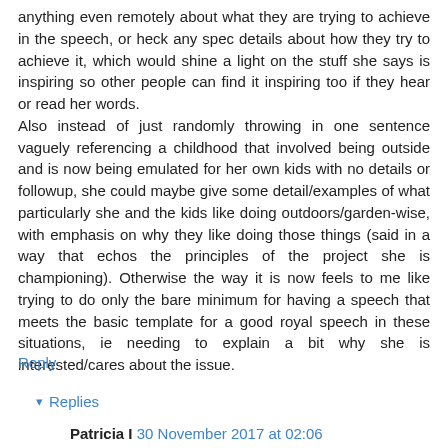anything even remotely about what they are trying to achieve in the speech, or heck any spec details about how they try to achieve it, which would shine a light on the stuff she says is inspiring so other people can find it inspiring too if they hear or read her words.
Also instead of just randomly throwing in one sentence vaguely referencing a childhood that involved being outside and is now being emulated for her own kids with no details or followup, she could maybe give some detail/examples of what particularly she and the kids like doing outdoors/garden-wise, with emphasis on why they like doing those things (said in a way that echos the principles of the project she is championing). Otherwise the way it is now feels to me like trying to do only the bare minimum for having a speech that meets the basic template for a good royal speech in these situations, ie needing to explain a bit why she is interested/cares about the issue.
Reply
Replies
Patricia I 30 November 2017 at 02:06